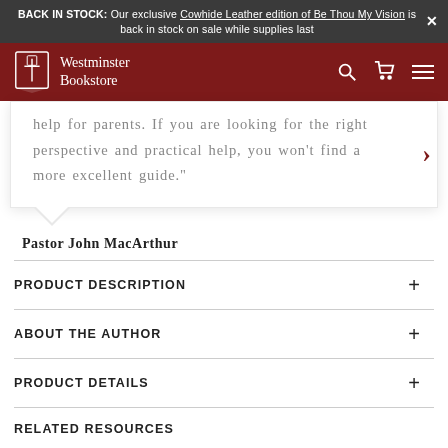BACK IN STOCK: Our exclusive Cowhide Leather edition of Be Thou My Vision is back in stock on sale while supplies last
[Figure (logo): Westminster Bookstore logo and navigation bar with search, cart, and menu icons on dark red background]
help for parents. If you are looking for the right perspective and practical help, you won't find a more excellent guide."
Pastor John MacArthur
PRODUCT DESCRIPTION
ABOUT THE AUTHOR
PRODUCT DETAILS
RELATED RESOURCES